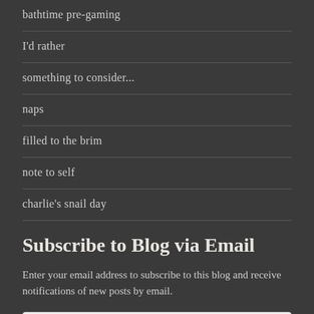bathtime pre-gaming
I'd rather
something to consider...
naps
filled to the brim
note to self
charlie's snail day
Subscribe to Blog via Email
Enter your email address to subscribe to this blog and receive notifications of new posts by email.